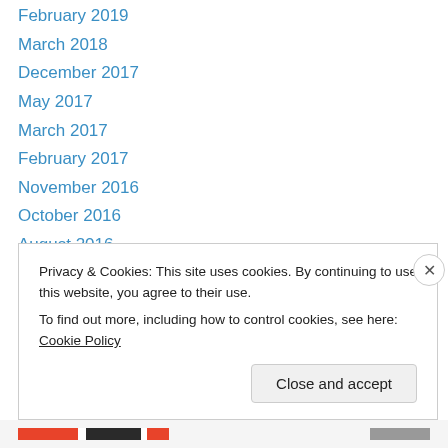February 2019
March 2018
December 2017
May 2017
March 2017
February 2017
November 2016
October 2016
August 2016
July 2016
May 2016
April 2016
March 2016
February 2016
Privacy & Cookies: This site uses cookies. By continuing to use this website, you agree to their use. To find out more, including how to control cookies, see here: Cookie Policy